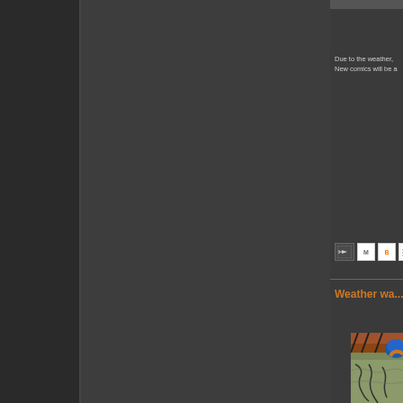Due to the weather, New comics will be a
[Figure (screenshot): Social sharing buttons: email forward icon, Gmail M button, Blogger B button, and partial Twitter button]
Weather wa...
[Figure (photo): Weather map image showing aerial view with orange/brown roof structure, blue dome, and map outline of Illinois state with river boundaries]